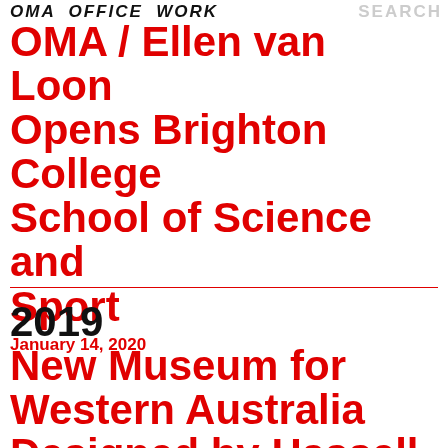OMA OFFICE WORK SEARCH
OMA / Ellen van Loon Opens Brighton College School of Science and Sport
January 14, 2020
2019
New Museum for Western Australia Designed by Hassell + OMA Reaches Building Completion Milestone